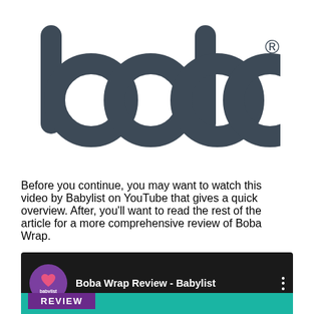[Figure (logo): Boba brand logo in dark slate gray color, lowercase rounded letters spelling 'boba' with registered trademark symbol]
Before you continue, you may want to watch this video by Babylist on YouTube that gives a quick overview. After, you'll want to read the rest of the article for a more comprehensive review of Boba Wrap.
[Figure (screenshot): YouTube video thumbnail showing Babylist channel icon (purple circle with heart logo and 'babylist' text), title 'Boba Wrap Review - Babylist', three-dot menu icon, teal/green background with a person partially visible, and a purple 'REVIEW' button overlay]